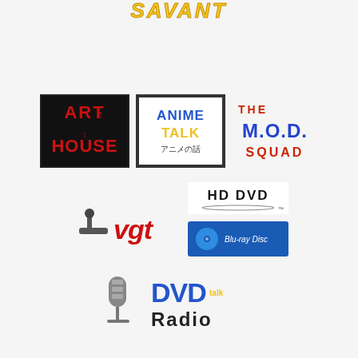[Figure (logo): Partial 'SAVANT' logo text in yellow/gold italic bold font at top center, partially cropped]
[Figure (logo): Art House logo - red bold text on black background with downward arrow]
[Figure (logo): Anime Talk logo - blue and yellow bold text with Japanese subtitle 'アニメの話' on white with border]
[Figure (logo): The M.O.D. Squad logo - red 'THE' and 'SQUAD' text with blue 'M.O.D.' in bold stylized font]
[Figure (logo): VGT logo - Atari joystick icon with red italic 'vgt' text]
[Figure (logo): HD DVD logo - black bold text with disc icon]
[Figure (logo): Blu-ray Disc logo - blue rectangle with Blu-ray disc icon and white text]
[Figure (logo): DVD Talk Radio logo - vintage microphone with 'DVD talk Radio' text in blue and black]